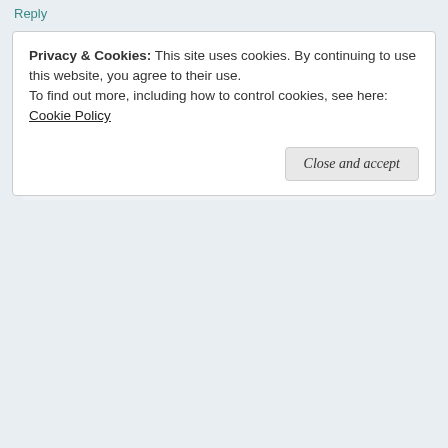Reply
Chatter Master   March 5, 2017 at 5:42 pm
I would LOVE to be THERE so you could tell me anything! 😉
Reply
Privacy & Cookies: This site uses cookies. By continuing to use this website, you agree to their use.
To find out more, including how to control cookies, see here: Cookie Policy
Close and accept